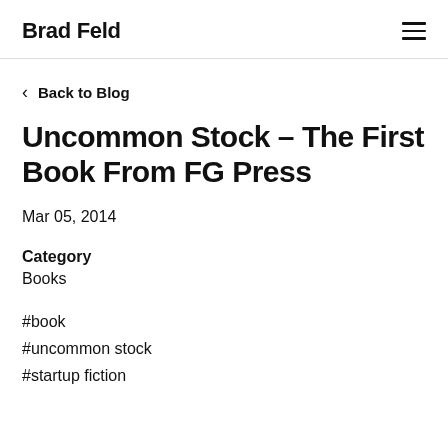Brad Feld
< Back to Blog
Uncommon Stock – The First Book From FG Press
Mar 05, 2014
Category
Books
#book
#uncommon stock
#startup fiction